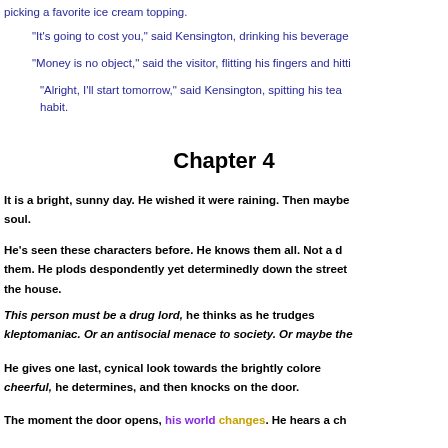picking a favorite ice cream topping.
“It’s going to cost you,” said Kensington, drinking his beverage
“Money is no object,” said the visitor, flitting his fingers and hitti
“Alright, I’ll start tomorrow,” said Kensington, spitting his tea habit.
Chapter 4
It is a bright, sunny day. He wished it were raining. Then maybe soul.
He’s seen these characters before. He knows them all. Not a d them. He plods despondently yet determinedly down the street the house.
This person must be a drug lord, he thinks as he trudges kleptomaniac. Or an antisocial menace to society. Or maybe they
He gives one last, cynical look towards the brightly colore cheerful, he determines, and then knocks on the door.
The moment the door opens, his world changes. He hears a ch